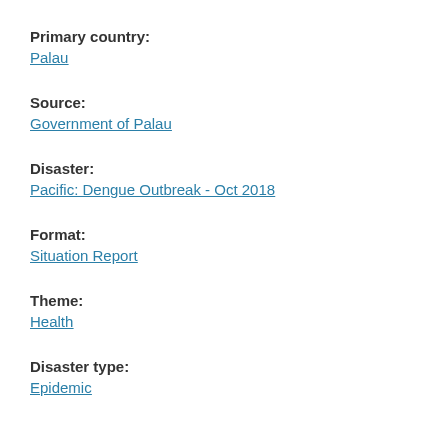Primary country:
Palau
Source:
Government of Palau
Disaster:
Pacific: Dengue Outbreak - Oct 2018
Format:
Situation Report
Theme:
Health
Disaster type:
Epidemic